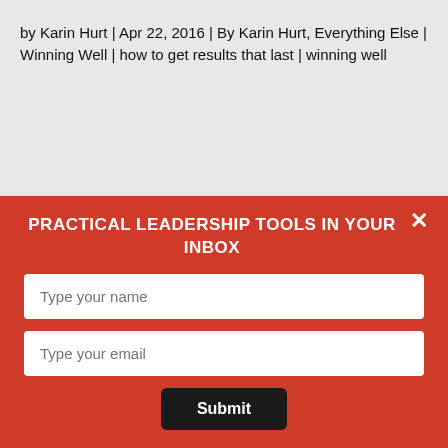by Karin Hurt | Apr 22, 2016 | By Karin Hurt, Everything Else | Winning Well | how to get results that last | winning well
PRACTICAL LEADERSHIP TOOLS IN YOUR INBOX
Type your name
Type your email
Submit